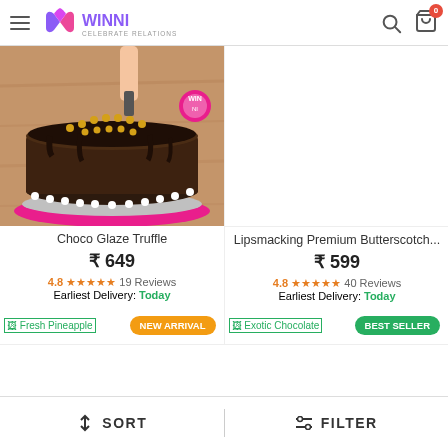WINNI - CELEBRATE RELATIONS
[Figure (photo): Chocolate Glaze Truffle cake being decorated with golden pearls, on a pink board]
Choco Glaze Truffle
₹ 649
4.8 ★★★★★ 19 Reviews
Earliest Delivery: Today
Lipsmacking Premium Butterscotch...
₹ 599
4.8 ★★★★★ 40 Reviews
Earliest Delivery: Today
[Figure (photo): Fresh Pineapple cake thumbnail with NEW ARRIVAL badge]
[Figure (photo): Exotic Chocolate cake thumbnail with BEST SELLER badge]
SORT   FILTER